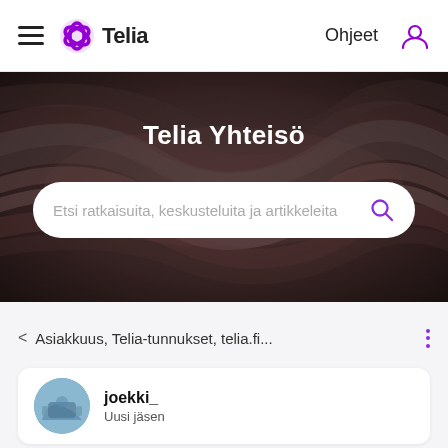Telia — Ohjeet
[Figure (screenshot): Telia Yhteisö hero banner with dark swirling cable background and white bold title text 'Telia Yhteisö', plus a wide search bar with placeholder text 'Etsi ratkaisuita, keskusteluita ja artikkeleita' and a purple search icon]
< Asiakkuus, Telia-tunnukset, telia.fi...
joekki_
Uusi jäsen